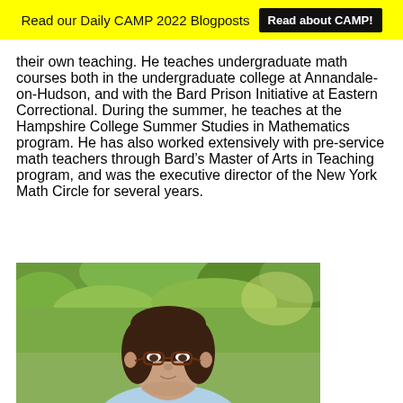Read our Daily CAMP 2022 Blogposts   Read about CAMP!
their own teaching. He teaches undergraduate math courses both in the undergraduate college at Annandale-on-Hudson, and with the Bard Prison Initiative at Eastern Correctional. During the summer, he teaches at the Hampshire College Summer Studies in Mathematics program. He has also worked extensively with pre-service math teachers through Bard's Master of Arts in Teaching program, and was the executive director of the New York Math Circle for several years.
[Figure (photo): Portrait photo of a woman with short brown hair and glasses, outdoors with green trees in the background.]